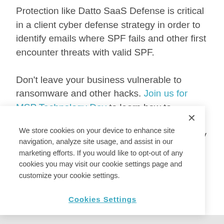Protection like Datto SaaS Defense is critical in a client cyber defense strategy in order to identify emails where SPF fails and other first encounter threats with valid SPF.

Don’t leave your business vulnerable to ransomware and other hacks. Join us for MSP Technology Day to learn how to leverage Datto SaaS Protection and Datto SaaS Defense to keep your clients effectively...
We store cookies on your device to enhance site navigation, analyze site usage, and assist in our marketing efforts. If you would like to opt-out of any cookies you may visit our cookie settings page and customize your cookie settings.
Cookies Settings